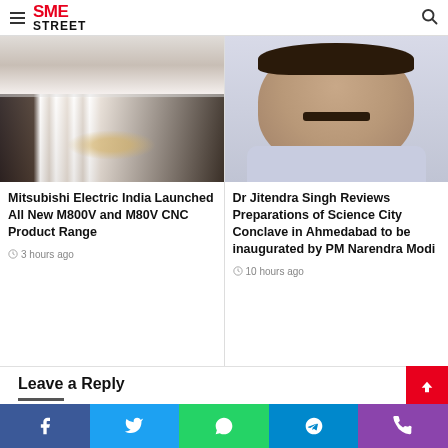SME STREET
[Figure (photo): Group of men in formal attire at a ribbon-cutting ceremony on a red stage with flowers]
Mitsubishi Electric India Launched All New M800V and M80V CNC Product Range
3 hours ago
[Figure (photo): Portrait photo of Dr Jitendra Singh, a man with a mustache wearing a light blue kurta]
Dr Jitendra Singh Reviews Preparations of Science City Conclave in Ahmedabad to be inaugurated by PM Narendra Modi
10 hours ago
Leave a Reply